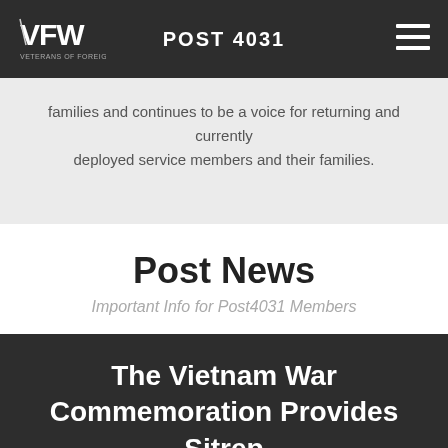POST 4031
families and continues to be a voice for returning and currently deployed service members and their families.
Post News
Important Info for Post4031 Members
The Vietnam War Commemoration Provides Sitrep 8 About the Fourth of July